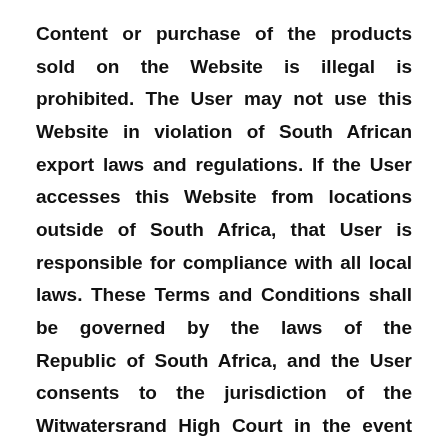Content or purchase of the products sold on the Website is illegal is prohibited. The User may not use this Website in violation of South African export laws and regulations. If the User accesses this Website from locations outside of South Africa, that User is responsible for compliance with all local laws. These Terms and Conditions shall be governed by the laws of the Republic of South Africa, and the User consents to the jurisdiction of the Witwatersrand High Court in the event of any dispute. If any of the provisions of these Terms and Conditions are found by a court of competent jurisdiction to be invalid or unenforceable, that provision shall be enforced to the maximum extent permissible so as to give effect to the intent of these Terms and Conditions, and the remainder of these